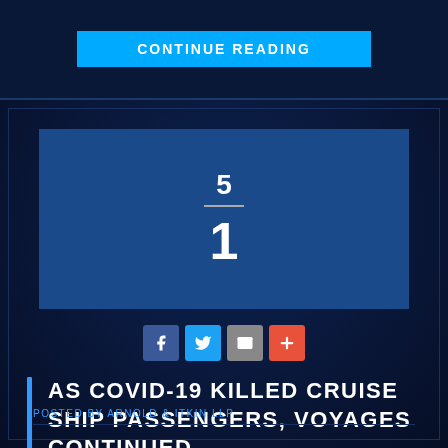CONTINUE READING
[Figure (infographic): Pagination display showing page 5 of 1 in a blue box]
[Figure (infographic): Social sharing icons: Facebook, Twitter, Email, and a plus/share button]
AS COVID-19 KILLED CRUISE SHIP PASSENGERS, VOYAGES CONTINUED
POSTED BY ARNOLD & ITKIN LLP